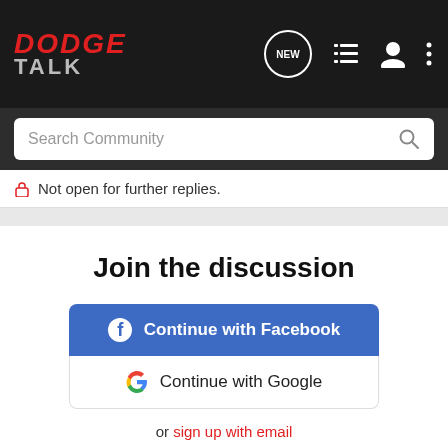[Figure (screenshot): DodgeTalk forum website navigation bar with logo, NEW button, list icon, user icon, and menu icon on dark background]
[Figure (screenshot): Search Community search bar on dark background]
Not open for further replies.
Join the discussion
[Figure (screenshot): Continue with Facebook button (blue) and Continue with Google button (white) with Facebook and Google logos]
or sign up with email
Recommended Reading